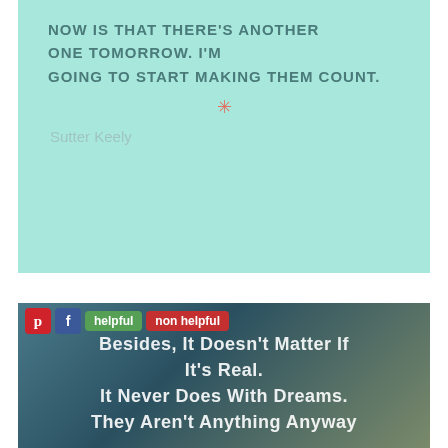NOW IS THAT THERE'S ANOTHER ONE TOMORROW. I'M GOING TO START MAKING THEM COUNT.
Sutter Keely
[Figure (illustration): Decorative sun/asterisk symbol in salmon/coral color]
[Figure (photo): Blurred dark teal/green bokeh background with overlay text quote: BESIDES, IT DOESN'T MATTER IF IT'S REAL. IT NEVER DOES WITH DREAMS. THEY AREN'T ANYTHING ANYWAY. Social sharing buttons: Pinterest, Facebook, helpful, non helpful overlaid at top.]
BESIDES, IT DOESN'T MATTER IF IT'S REAL. IT NEVER DOES WITH DREAMS. THEY AREN'T ANYTHING ANYWAY